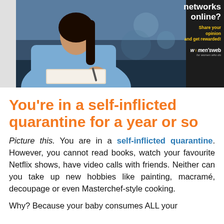[Figure (photo): Advertisement banner showing a woman in a blue cardigan writing at a desk, with text 'networks online? Share your opinion and get rewarded!' and Women's Web logo on dark background]
You're in a self-inflicted quarantine for a year or so
Picture this. You are in a self-inflicted quarantine. However, you cannot read books, watch your favourite Netflix shows, have video calls with friends. Neither can you take up new hobbies like painting, macramé, decoupage or even Masterchef-style cooking.
Why? Because your baby consumes ALL your